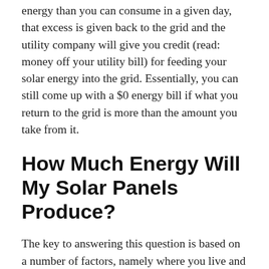energy than you can consume in a given day, that excess is given back to the grid and the utility company will give you credit (read: money off your utility bill) for feeding your solar energy into the grid. Essentially, you can still come up with a $0 energy bill if what you return to the grid is more than the amount you take from it.
How Much Energy Will My Solar Panels Produce?
The key to answering this question is based on a number of factors, namely where you live and the size of the system (from kilowatts